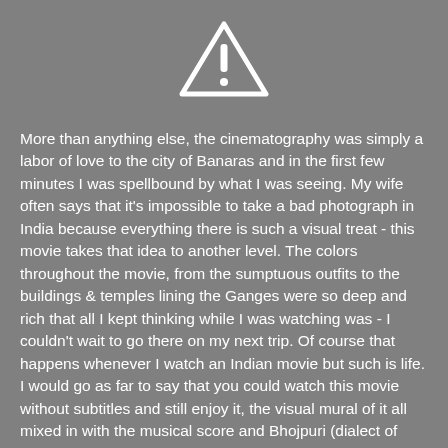[Figure (illustration): Warning triangle icon with exclamation mark, white on gray background]
More than anything else, the cinematography was simply a labor of love to the city of Banaras and in the first few minutes I was spellbound by what I was seeing. My wife often says that it's impossible to take a bad photograph in India because everything there is such a visual treat - this movie takes that idea to another level. The colors throughout the movie, from the sumptuous outfits to the buildings & temples lining the Ganges were so deep and rich that all I kept thinking while I was watching was - I couldn't wait to go there on my next trip. Of course that happens whenever I watch an Indian movie but such is life. I would go as far to say that you could watch this movie without subtitles and still enjoy it, the visual mural of it all mixed in with the musical score and Bhojpuri (dialect of Hindi) dialogue all work tha